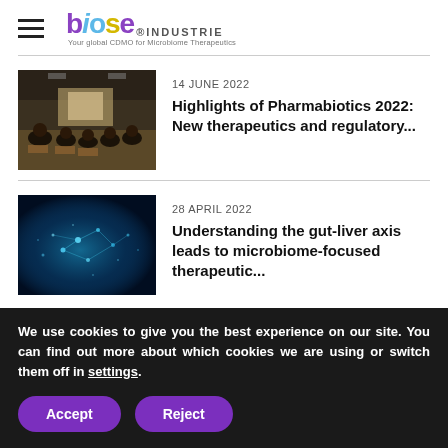biose INDUSTRIE — Your global CDMO for Microbiome Therapeutics
[Figure (photo): Conference room with attendees seated around tables, viewed from behind, with presentations and banners in the background.]
14 JUNE 2022
Highlights of Pharmabiotics 2022: New therapeutics and regulatory...
[Figure (photo): Digital illustration of a glowing blue network or microbiome on a dark teal background, representing gut-liver axis or microbiome research.]
28 APRIL 2022
Understanding the gut-liver axis leads to microbiome-focused therapeutic...
We use cookies to give you the best experience on our site. You can find out more about which cookies we are using or switch them off in settings.
Accept
Reject